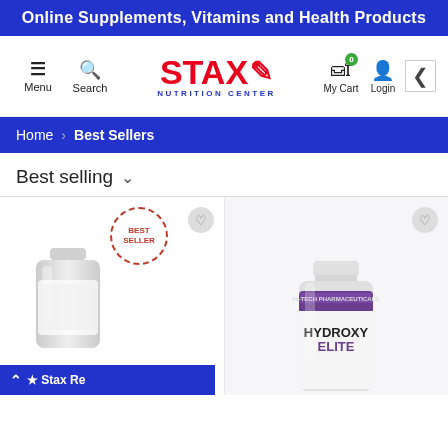Online Supplements, Vitamins and Health Products
[Figure (logo): Stax Nutrition Center logo with red STAX text and blue NUTRITION CENTER text below]
Home > Best Sellers
Best selling
[Figure (photo): Product listing showing two supplement bottles. First bottle is white with a Best Seller badge. Second bottle is HydroxyElite by Hi-Tech Pharmaceuticals with purple label. A Stax Reviews bar appears at the bottom of the first product.]